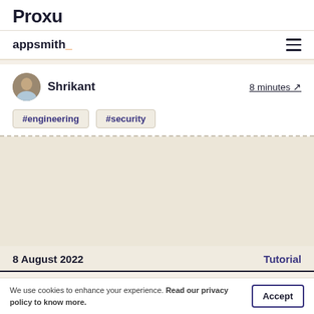Proxu
appsmith_
Shrikant   8 minutes ↗
#engineering
#security
[Figure (photo): Article thumbnail image placeholder (beige/cream background)]
8 August 2022   Tutorial
We use cookies to enhance your experience. Read our privacy policy to know more.